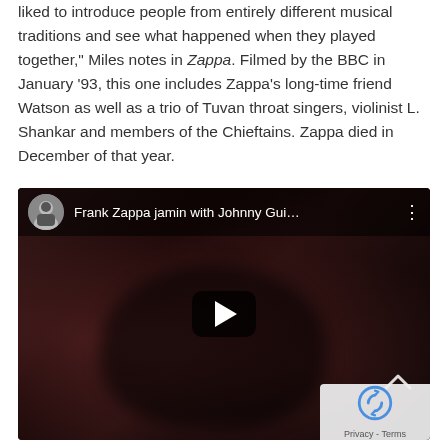liked to introduce people from entirely different musical traditions and see what happened when they played together," Miles notes in Zappa. Filmed by the BBC in January '93, this one includes Zappa's long-time friend Watson as well as a trio of Tuvan throat singers, violinist L. Shankar and members of the Chieftains. Zappa died in December of that year.
[Figure (screenshot): YouTube video embed showing 'Frank Zappa jamin with Johnny Gui...' with a dark reddish-brown background showing a blurred face/silhouette, a play button in the center, a channel avatar thumbnail in the top left, and a reCAPTCHA privacy overlay in the bottom right.]